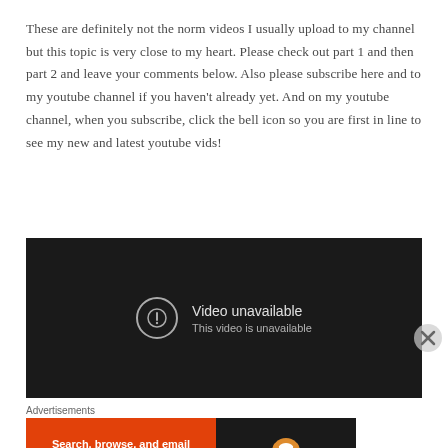These are definitely not the norm videos I usually upload to my channel but this topic is very close to my heart. Please check out part 1 and then part 2 and leave your comments below. Also please subscribe here and to my youtube channel if you haven't already yet. And on my youtube channel, when you subscribe, click the bell icon so you are first in line to see my new and latest youtube vids!
[Figure (screenshot): Embedded video player showing 'Video unavailable - This video is unavailable' message on dark background, with a warning circle icon]
Advertisements
[Figure (screenshot): DuckDuckGo advertisement banner: orange left panel with 'Search, browse, and email with more privacy. All in One Free App' and black right panel with DuckDuckGo duck logo]